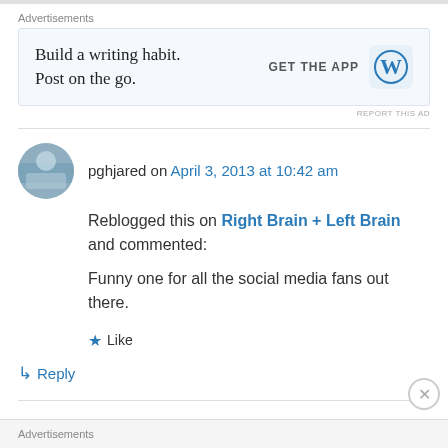[Figure (other): Advertisement banner: 'Build a writing habit. Post on the go.' with GET THE APP button and WordPress logo]
pghjared on April 3, 2013 at 10:42 am
Reblogged this on Right Brain + Left Brain and commented:
Funny one for all the social media fans out there.
Like
Reply
Pingback: This picture proves social media is old school networking on a new channel
Advertisements